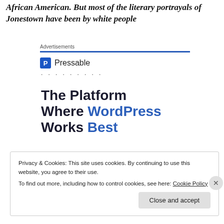African American. But most of the literary portrayals of Jonestown have been by white people
Advertisements
[Figure (other): Pressable advertisement: logo icon with letter P, name 'Pressable', dots, and headline 'The Platform Where WordPress Works Best']
Privacy & Cookies: This site uses cookies. By continuing to use this website, you agree to their use.
To find out more, including how to control cookies, see here: Cookie Policy